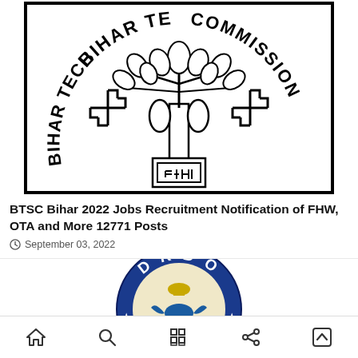[Figure (logo): Bihar Technical Service Commission (BTSC) official seal/logo showing a tree with leaves, two swastika symbols, and text BIHAR TECH... COMMISSION in a circular/arch layout. Black and white logo on white background.]
BTSC Bihar 2022 Jobs Recruitment Notification of FHW, OTA and More 12771 Posts
September 03, 2022
[Figure (logo): DRDO (Defence Research and Development Organisation) official circular logo with blue border, showing the Ashoka Emblem in the center with an eagle/peacock emblem below it, stars on sides, and DRDO text around the top edge on a blue background.]
Navigation bar with home, search, grid, share, and scroll-up icons